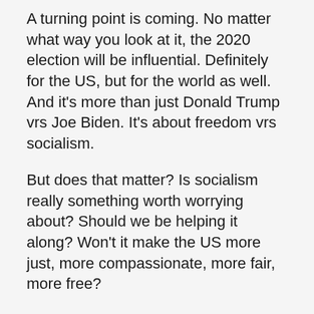A turning point is coming. No matter what way you look at it, the 2020 election will be influential. Definitely for the US, but for the world as well. And it's more than just Donald Trump vrs Joe Biden. It's about freedom vrs socialism.
But does that matter? Is socialism really something worth worrying about? Should we be helping it along? Won't it make the US more just, more compassionate, more fair, more free?
Yes, yes, no no.
Confused?
To understand this, you really have to understand that socialism is not actually about helping the poor and the minorities. It's not about taking from the rich to give to the poor.